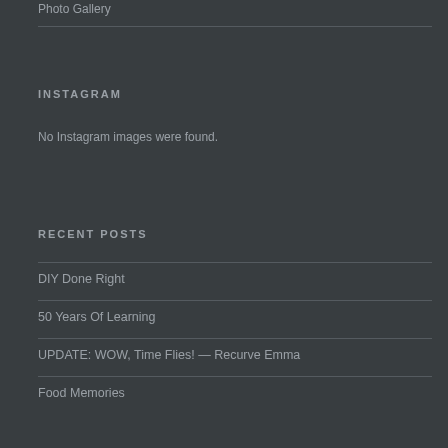Photo Gallery
INSTAGRAM
No Instagram images were found.
RECENT POSTS
DIY Done Right
50 Years Of Learning
UPDATE: WOW, Time Flies! — Recurve Emma
Food Memories